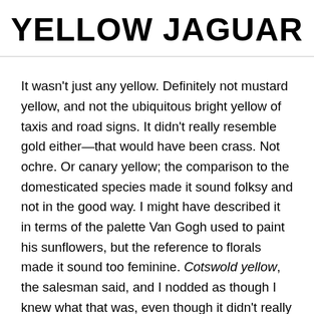YELLOW JAGUAR
It wasn't just any yellow. Definitely not mustard yellow, and not the ubiquitous bright yellow of taxis and road signs. It didn't really resemble gold either—that would have been crass. Not ochre. Or canary yellow; the comparison to the domesticated species made it sound folksy and not in the good way. I might have described it in terms of the palette Van Gogh used to paint his sunflowers, but the reference to florals made it sound too feminine. Cotswold yellow, the salesman said, and I nodded as though I knew what that was, even though it didn't really matter if I did or not. Later I learned that the term comes from the limestone that's used in buildings in the Cotswold villages in England, which is formed from fossilized sea urchins—and, when eroded by the sun and rain, the facades take